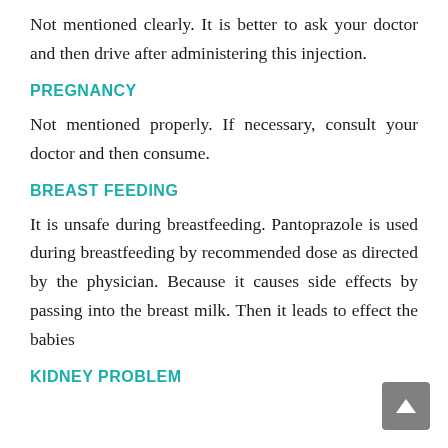Not mentioned clearly. It is better to ask your doctor and then drive after administering this injection.
PREGNANCY
Not mentioned properly. If necessary, consult your doctor and then consume.
BREAST FEEDING
It is unsafe during breastfeeding. Pantoprazole is used during breastfeeding by recommended dose as directed by the physician. Because it causes side effects by passing into the breast milk. Then it leads to effect the babies
KIDNEY PROBLEM